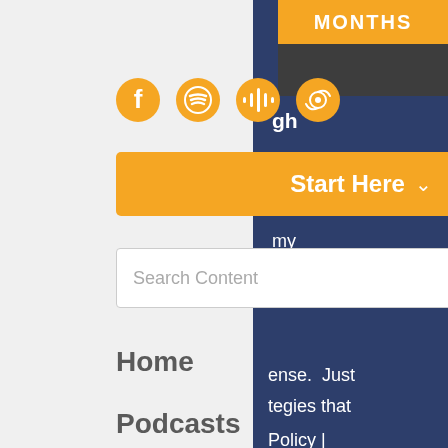[Figure (screenshot): Navigation menu overlay showing social media icons (Facebook, Spotify, Google Podcasts, Apple Podcasts), a Start Here button, Search Content field, and nav links: Home, Podcasts, All Content, and a Join the Newsletter widget. Right side shows a dark navy blue panel with orange MONTHS bar at top and partial white text.]
MONTHS
gh
endent at my others s.
ense.  Just tegies that
Policy |
Start Here
Search Content
Home
Podcasts
All Content
ut Join the Newsletter